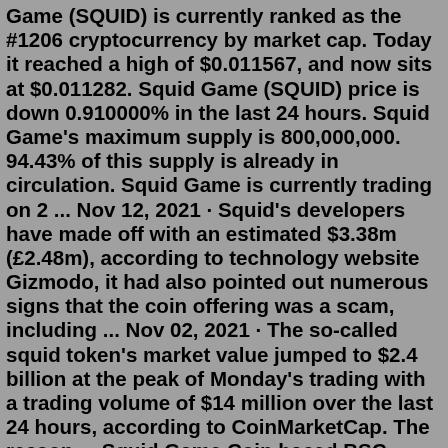Game (SQUID) is currently ranked as the #1206 cryptocurrency by market cap. Today it reached a high of $0.011567, and now sits at $0.011282. Squid Game (SQUID) price is down 0.910000% in the last 24 hours. Squid Game's maximum supply is 800,000,000. 94.43% of this supply is already in circulation. Squid Game is currently trading on 2 ... Nov 12, 2021 · Squid's developers have made off with an estimated $3.38m (£2.48m), according to technology website Gizmodo, it had also pointed out numerous signs that the coin offering was a scam, including ... Nov 02, 2021 · The so-called squid token's market value jumped to $2.4 billion at the peak of Monday's trading with a trading volume of $14 million over the last 24 hours, according to CoinMarketCap. The reason ... Squid Game Coin baced BSC network that give it fast block mining advantage. approx 3 seconds per Block On Target Wew target on full privacy, You don't need to provide all your personal details for SQUID Token. Join our community We connect players with cryptocurrencies